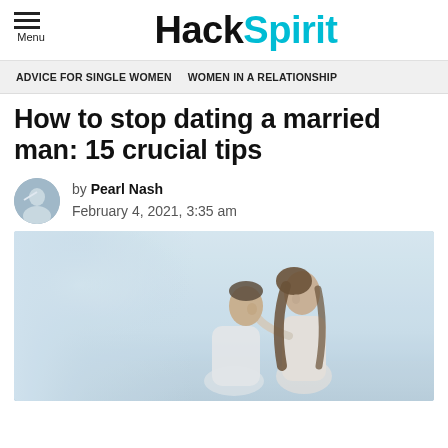HackSpirit
ADVICE FOR SINGLE WOMEN   WOMEN IN A RELATIONSHIP
How to stop dating a married man: 15 crucial tips
by Pearl Nash
February 4, 2021, 3:35 am
[Figure (photo): A man and woman facing each other closely, appearing to be about to kiss, with a blurred light blue sky background.]